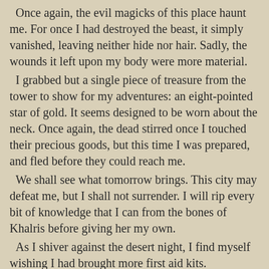Once again, the evil magicks of this place haunt me. For once I had destroyed the beast, it simply vanished, leaving neither hide nor hair. Sadly, the wounds it left upon my body were more material.
I grabbed but a single piece of treasure from the tower to show for my adventures: an eight-pointed star of gold. It seems designed to be worn about the neck. Once again, the dead stirred once I touched their precious goods, but this time I was prepared, and fled before they could reach me.
We shall see what tomorrow brings. This city may defeat me, but I shall not surrender. I will rip every bit of knowledge that I can from the bones of Khalris before giving her my own.
As I shiver against the desert night, I find myself wishing I had brought more first aid kits.
Journal Entry #4
Hah! Life still clings to my body, despite the best efforts of this place. I found the remains of another explorer today. This time, I opened the sarcophogus in the tomb of the east tower before reaching for the good there, thinking perhaps I